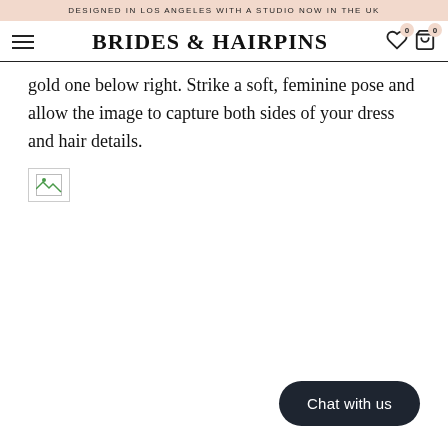DESIGNED IN LOS ANGELES WITH A STUDIO NOW IN THE UK
BRIDES & HAIRPINS
gold one below right. Strike a soft, feminine pose and allow the image to capture both sides of your dress and hair details.
[Figure (photo): Broken image placeholder]
Chat with us